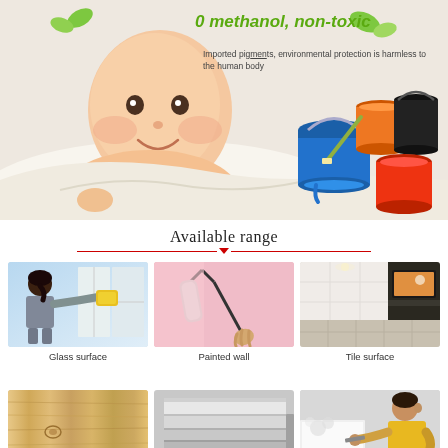[Figure (photo): Marketing infographic page. Top section shows a smiling baby with green leaf decorations, paint cans (blue, orange, black, red/coral colors), and text overlay '0 methanol, non-toxic' with subtitle about imported pigments. Bottom section shows 'Available range' with six images: Glass surface (woman cleaning window), Painted wall (paint roller on pink wall), Tile surface (modern living room), Wood surface, Paper/board stacked, Worker applying material to wall.]
0 methanol, non-toxic
Imported pigments, environmental protection is harmless to the human body
Available range
Glass surface
Painted wall
Tile surface